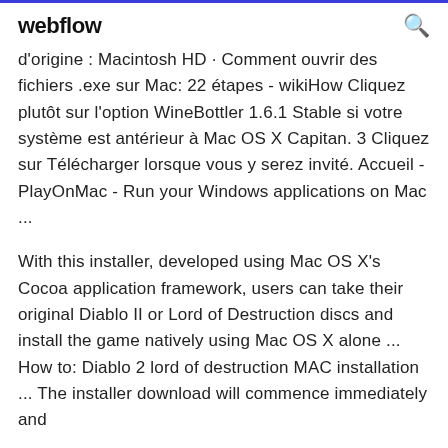webflow
d'origine : Macintosh HD · Comment ouvrir des fichiers .exe sur Mac: 22 étapes - wikiHow Cliquez plutôt sur l'option WineBottler 1.6.1 Stable si votre système est antérieur à Mac OS X Capitan. 3 Cliquez sur Télécharger lorsque vous y serez invité. Accueil - PlayOnMac - Run your Windows applications on Mac ...
With this installer, developed using Mac OS X's Cocoa application framework, users can take their original Diablo II or Lord of Destruction discs and install the game natively using Mac OS X alone ... How to: Diablo 2 lord of destruction MAC installation ... The installer download will commence immediately and